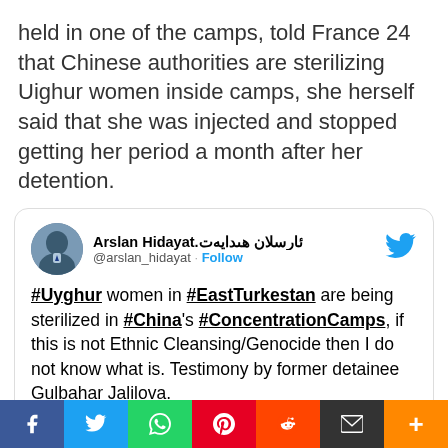held in one of the camps, told France 24 that Chinese authorities are sterilizing Uighur women inside camps, she herself said that she was injected and stopped getting her period a month after her detention.
[Figure (screenshot): Embedded tweet by Arslan Hidayat (@arslan_hidayat) with text: #Uyghur women in #EastTurkestan are being sterilized in #China's #ConcentrationCamps, if this is not Ethnic Cleansing/Genocide then I do not know what is. Testimony by former detainee Gulbahar Jalilova.]
[Figure (infographic): Social media share bar at bottom with Facebook, Twitter, WhatsApp, Pinterest, Reddit, Email, and More buttons]